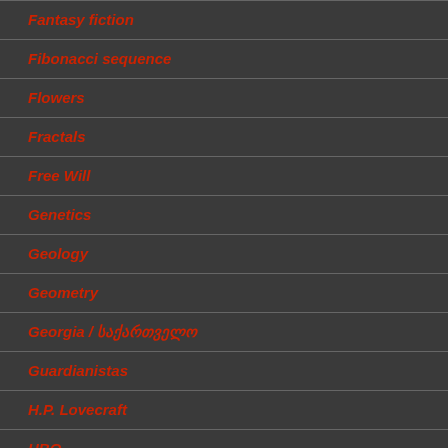Fantasy fiction
Fibonacci sequence
Flowers
Fractals
Free Will
Genetics
Geology
Geometry
Georgia / საქართველო
Guardianistas
H.P. Lovecraft
HBO
Hexagons